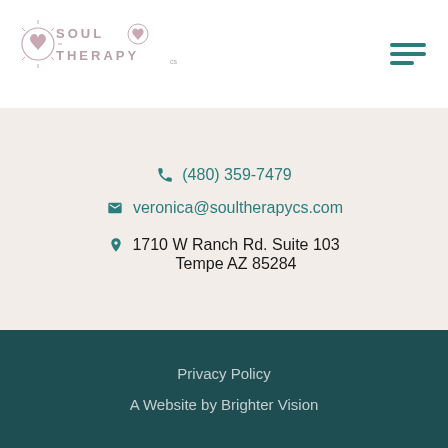[Figure (logo): Soul Therapy logo with decorative heart/sun icons and text 'SOUL THERAPY']
(480) 359-7479
veronica@soultherapycs.com
1710 W Ranch Rd. Suite 103 Tempe AZ 85284
Privacy Policy
A Website by Brighter Vision